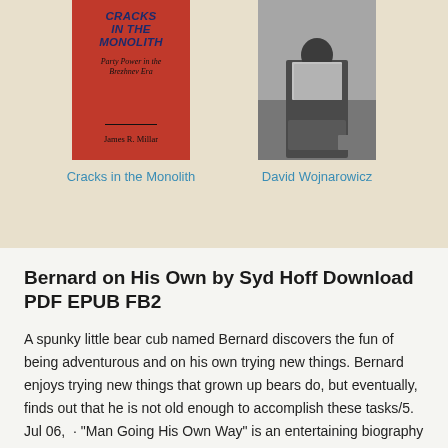[Figure (photo): Red book cover for 'Cracks in the Monolith: Party Power in the Brezhnev Era' by James R. Millar]
Cracks in the Monolith
[Figure (photo): Black and white photograph of David Wojnarowicz sitting against a wall reading]
David Wojnarowicz
Bernard on His Own by Syd Hoff Download PDF EPUB FB2
A spunky little bear cub named Bernard discovers the fun of being adventurous and on his own trying new things. Bernard enjoys trying new things that grown up bears do, but eventually, finds out that he is not old enough to accomplish these tasks/5. Jul 06,  · "Man Going His Own Way" is an entertaining biography about the Bernard on His Own